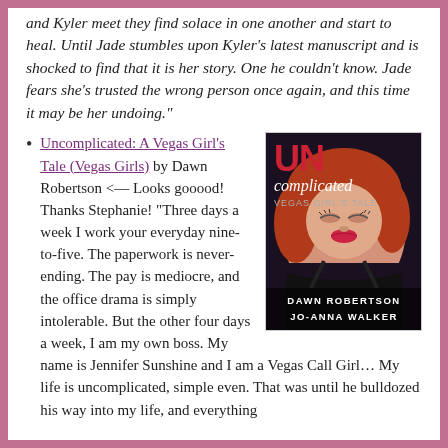and Kyler meet they find solace in one another and start to heal. Until Jade stumbles upon Kyler's latest manuscript and is shocked to find that it is her story. One he couldn't know. Jade fears she's trusted the wrong person once again, and this time it may be her undoing."
Uncomplicated: A Vegas Girl's Tale (Vegas Girls) by Dawn Robertson <— Looks gooood! Thanks Stephanie! "Three days a week I work your everyday nine-to-five. The paperwork is never-ending. The pay is mediocre, and the office drama is simply intolerable. But the other four days a week, I am my own boss. My name is Jennifer Sunshine and I am a Vegas Call Girl… My life is uncomplicated, simple even. That was until he bulldozed his way into my life, and everything
[Figure (illustration): Book cover for 'Uncomplicated: A Vegas Girl's Tale' by Dawn Robertson and Jo-Anna Walker. Shows a woman with red hair lying back, wearing a black bra top. Large text reads 'UN complicated VEGAS GIRL'S TALE' in red and white. Authors' names at bottom.]